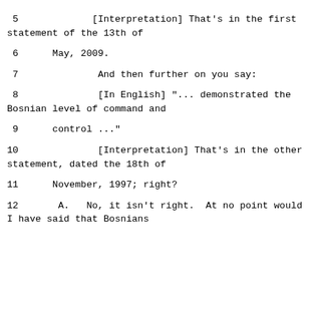5             [Interpretation] That's in the first statement of the 13th of
6      May, 2009.
7              And then further on you say:
8              [In English] "... demonstrated the Bosnian level of command and
9      control ..."
10              [Interpretation] That's in the other statement, dated the 18th of
11      November, 1997; right?
12       A.   No, it isn't right.  At no point would I have said that Bosnians